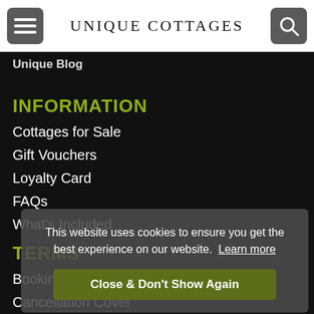UNIQUE COTTAGES
Unique Blog
INFORMATION
Cottages for Sale
Gift Vouchers
Loyalty Card
FAQs
What's Included
TERMS
Booking Conditions
Cancellation Cover
This website uses cookies to ensure you get the best experience on our website. Learn more
Close & Don't Show Again